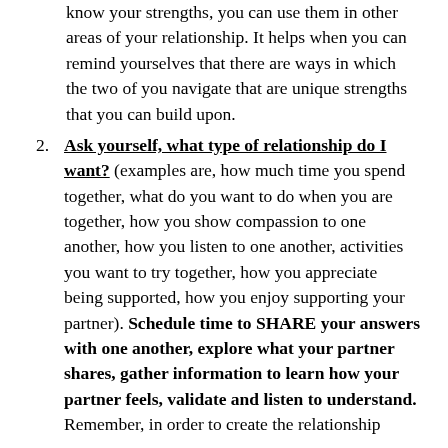know your strengths, you can use them in other areas of your relationship. It helps when you can remind yourselves that there are ways in which the two of you navigate that are unique strengths that you can build upon.
Ask yourself, what type of relationship do I want? (examples are, how much time you spend together, what do you want to do when you are together, how you show compassion to one another, how you listen to one another, activities you want to try together, how you appreciate being supported, how you enjoy supporting your partner). Schedule time to SHARE your answers with one another, explore what your partner shares, gather information to learn how your partner feels, validate and listen to understand. Remember, in order to create the relationship